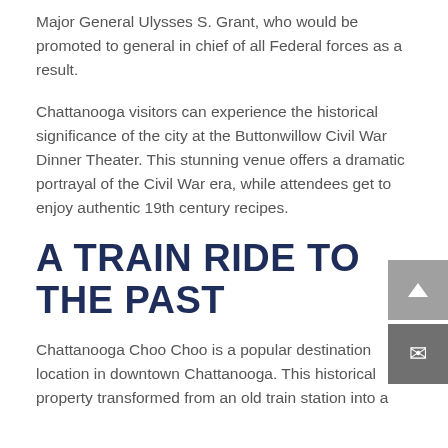Major General Ulysses S. Grant, who would be promoted to general in chief of all Federal forces as a result.
Chattanooga visitors can experience the historical significance of the city at the Buttonwillow Civil War Dinner Theater. This stunning venue offers a dramatic portrayal of the Civil War era, while attendees get to enjoy authentic 19th century recipes.
A TRAIN RIDE TO THE PAST
Chattanooga Choo Choo is a popular destination location in downtown Chattanooga. This historical property transformed from an old train station into a